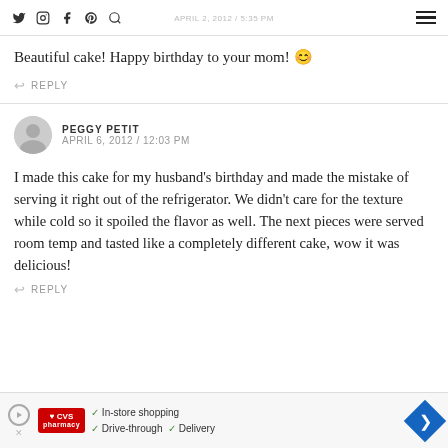APRIL 2, 2012 / 5:35 PM
Beautiful cake! Happy birthday to your mom! 😊
↩ REPLY
PEGGY PETIT
APRIL 6, 2012 / 12:03 PM
I made this cake for my husband's birthday and made the mistake of serving it right out of the refrigerator. We didn't care for the texture while cold so it spoiled the flavor as well. The next pieces were served room temp and tasted like a completely different cake, wow it was delicious!
↩ REPLY
[Figure (other): CVS Pharmacy advertisement banner with checkmarks for In-store shopping, Drive-through, and Delivery, with a blue diamond arrow icon]